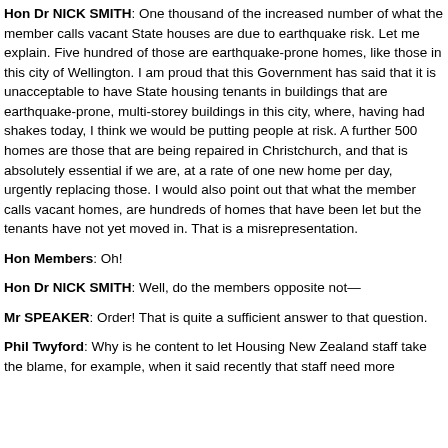Hon Dr NICK SMITH: One thousand of the increased number of what the member calls vacant State houses are due to earthquake risk. Let me explain. Five hundred of those are earthquake-prone homes, like those in this city of Wellington. I am proud that this Government has said that it is unacceptable to have State housing tenants in buildings that are earthquake-prone, multi-storey buildings in this city, where, having had shakes today, I think we would be putting people at risk. A further 500 homes are those that are being repaired in Christchurch, and that is absolutely essential if we are, at a rate of one new home per day, urgently replacing those. I would also point out that what the member calls vacant homes, are hundreds of homes that have been let but the tenants have not yet moved in. That is a misrepresentation.
Hon Members: Oh!
Hon Dr NICK SMITH: Well, do the members opposite not—
Mr SPEAKER: Order! That is quite a sufficient answer to that question.
Phil Twyford: Why is he content to let Housing New Zealand staff take the blame, for example, when it said recently that staff need more